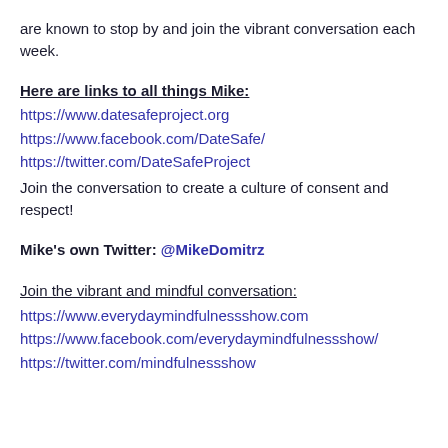are known to stop by and join the vibrant conversation each week.
Here are links to all things Mike:
https://www.datesafeproject.org
https://www.facebook.com/DateSafe/
https://twitter.com/DateSafeProject
Join the conversation to create a culture of consent and respect!
Mike's own Twitter: @MikeDomitrz
Join the vibrant and mindful conversation:
https://www.everydaymindfulnessshow.com
https://www.facebook.com/everydaymindfulnessshow/
https://twitter.com/mindfulnessshow